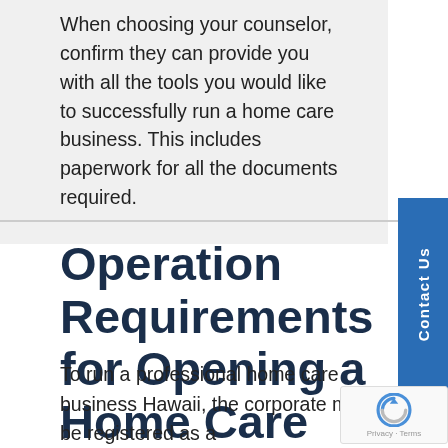When choosing your counselor, confirm they can provide you with all the tools you would like to successfully run a home care business. This includes paperwork for all the documents required.
Operation Requirements for Opening a Home Care Business in Hawaii
To run a professional home care business Hawaii, the corporate must be registered as a